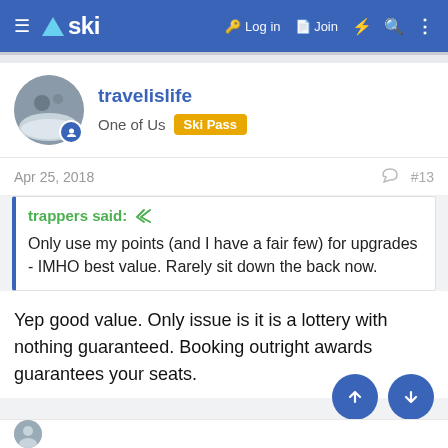ski — Log in  Join
travelislife
One of Us  Ski Pass
Apr 25, 2018  #13
trappers said:
Only use my points (and I have a fair few) for upgrades - IMHO best value. Rarely sit down the back now.
Yep good value. Only issue is it is a lottery with nothing guaranteed. Booking outright awards guarantees your seats.